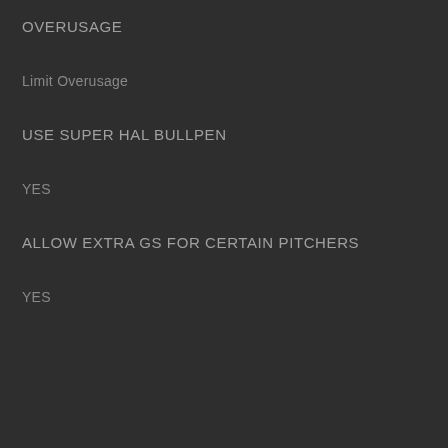OVERUSAGE
Limit Overusage
USE SUPER HAL BULLPEN
YES
ALLOW EXTRA GS FOR CERTAIN PITCHERS
YES